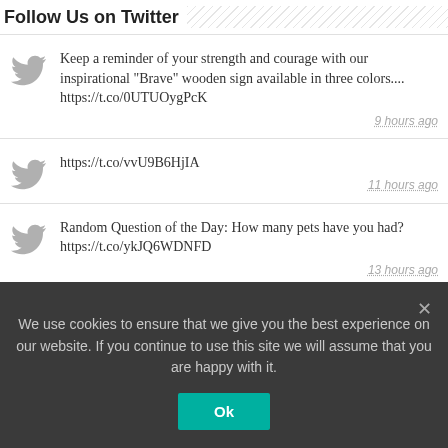Follow Us on Twitter
Keep a reminder of your strength and courage with our inspirational "Brave" wooden sign available in three colors.... https://t.co/0UTUOygPcK
9 hours ago
https://t.co/vvU9B6HjIA
11 hours ago
Random Question of the Day: How many pets have you had? https://t.co/ykJQ6WDNFD
13 hours ago
We use cookies to ensure that we give you the best experience on our website. If you continue to use this site we will assume that you are happy with it.